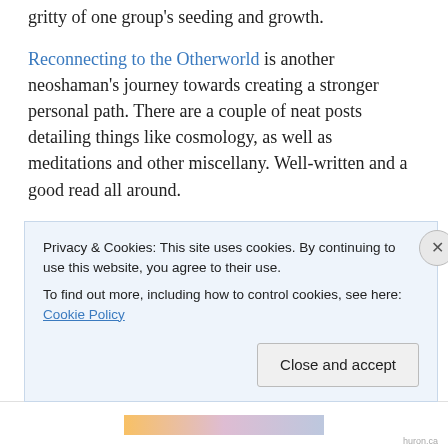gritty of one group's seeding and growth.
Reconnecting to the Otherworld is another neoshaman's journey towards creating a stronger personal path. There are a couple of neat posts detailing things like cosmology, as well as meditations and other miscellany. Well-written and a good read all around.
Searching for Imbas – as author Erynn Rowan Laurie deepens her practices of filidecht, the Irish Celtic poetic mystic tradition, she uses this blog as a record for her own journey. Given that there's not a lot of first-hand
Privacy & Cookies: This site uses cookies. By continuing to use this website, you agree to their use.
To find out more, including how to control cookies, see here: Cookie Policy